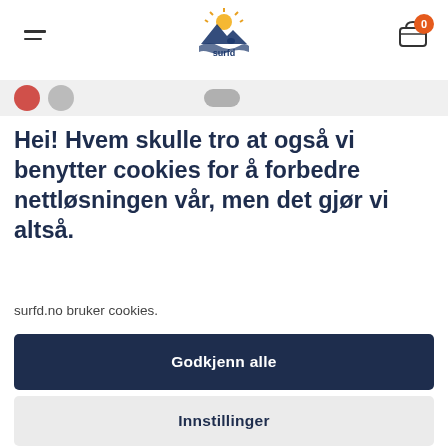[Figure (logo): Surfd logo with sun and mountain/wave icon above the word 'surfd']
Hei! Hvem skulle tro at også vi benytter cookies for å forbedre nettløsningen vår, men det gjør vi altså.
surfd.no bruker cookies.
Godkjenn alle
Innstillinger